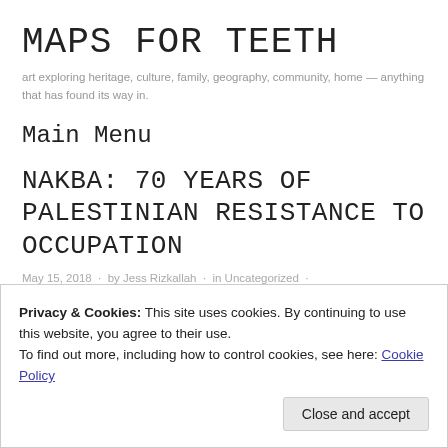MAPS FOR TEETH
art exploring heritage, culture, family, geography, community, home — anything that has found its way in.
Main Menu
NAKBA: 70 YEARS OF PALESTINIAN RESISTANCE TO OCCUPATION
May 15, 2018 · by Jess Rizkallah · in Uncategorized ·
Privacy & Cookies: This site uses cookies. By continuing to use this website, you agree to their use.
To find out more, including how to control cookies, see here: Cookie Policy
Close and accept